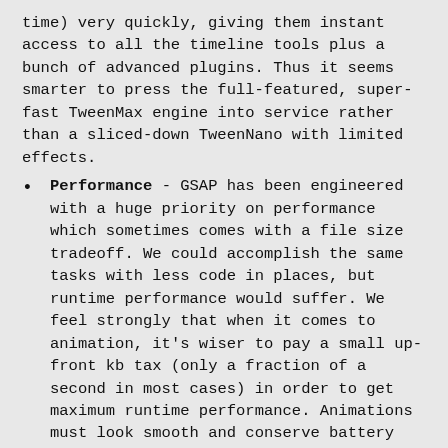time) very quickly, giving them instant access to all the timeline tools plus a bunch of advanced plugins. Thus it seems smarter to press the full-featured, super-fast TweenMax engine into service rather than a sliced-down TweenNano with limited effects.
Performance - GSAP has been engineered with a huge priority on performance which sometimes comes with a file size tradeoff. We could accomplish the same tasks with less code in places, but runtime performance would suffer. We feel strongly that when it comes to animation, it's wiser to pay a small up-front kb tax (only a fraction of a second in most cases) in order to get maximum runtime performance. Animations must look smooth and conserve battery power. Think of it this way: would you rather buy a computer that boots up 2 seconds faster or one that's 30% faster all the time (after it